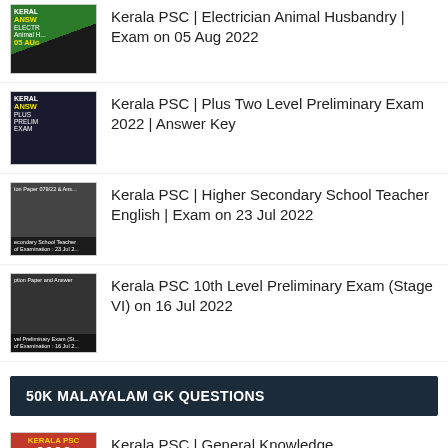Kerala PSC | Electrician Animal Husbandry | Exam on 05 Aug 2022
Kerala PSC | Plus Two Level Preliminary Exam 2022 | Answer Key
Kerala PSC | Higher Secondary School Teacher English | Exam on 23 Jul 2022
Kerala PSC 10th Level Preliminary Exam (Stage VI) on 16 Jul 2022
50K MALAYALAM GK QUESTIONS
Kerala PSC | General Knowledge Question Bank | 50000 Questions - 65